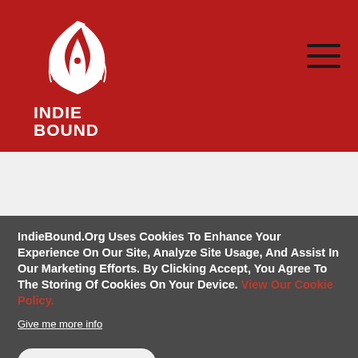[Figure (logo): IndieBound logo: white stylized figure/bird graphic above text 'INDIE BOUND' on red background]
IndieBound.Org Uses Cookies To Enhance Your Experience On Our Site, Analyze Site Usage, And Assist In Our Marketing Efforts. By Clicking Accept, You Agree To The Storing Of Cookies On Your Device. View Our Cookie Policy.
Give me more info
Accept all Cookies